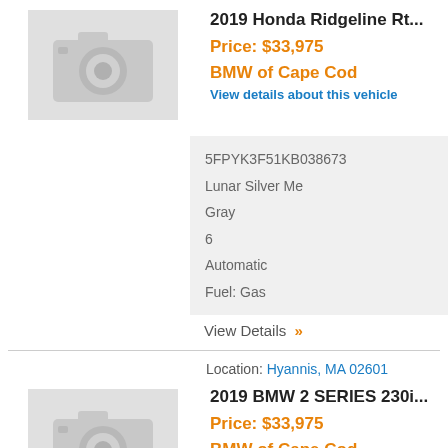2019 Honda Ridgeline Rt...
Price: $33,975
BMW of Cape Cod
View details about this vehicle
| 5FPYK3F51KB038673 |
| Lunar Silver Me |
| Gray |
| 6 |
| Automatic |
| Fuel: Gas |
View Details »
Location: Hyannis, MA 02601
2019 BMW 2 SERIES 230i...
Price: $33,975
BMW of Cape Cod
View details about this vehicle